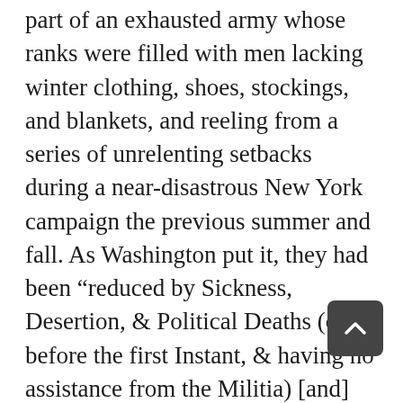part of an exhausted army whose ranks were filled with men lacking winter clothing, shoes, stockings, and blankets, and reeling from a series of unrelenting setbacks during a near-disastrous New York campaign the previous summer and fall. As Washington put it, they had been “reduced by Sickness, Desertion, & Political Deaths (on & before the first Instant, & having no assistance from the Militia) [and] were obliged to retire before the Enemy.” The American defeats in New York had segued into a long, punishing retreat through more than eighty miles of northern and central New Jersey and culminated in the army’s withdrawal across the Delaware River from Trenton to Pennsylvania during the first week of December in order to elude the pursuing Anglo-German forces.
Stirling’s force, when posted on or near the grounds of the Thompson-Neely house, comprised